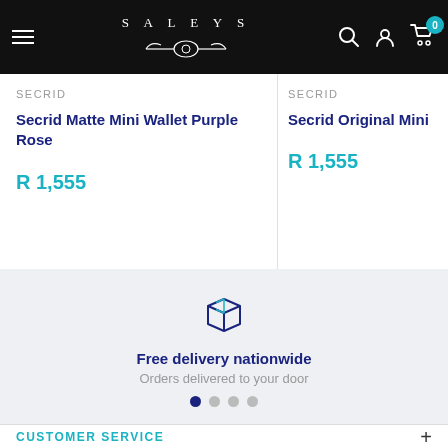SALEYS — navigation header with hamburger menu, logo, search, account, cart (0)
SECRID
Secrid Matte Mini Wallet Purple Rose
R 1,555
SECRID
Secrid Original Mini
R 1,555
[Figure (illustration): Box/package delivery icon outline in dark blue]
Free delivery nationwide
Orders delivered to your door
CUSTOMER SERVICE